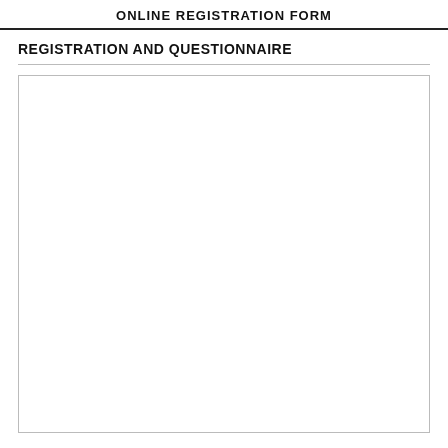ONLINE REGISTRATION FORM
REGISTRATION AND QUESTIONNAIRE
[Figure (other): Empty bordered form box for registration and questionnaire content]